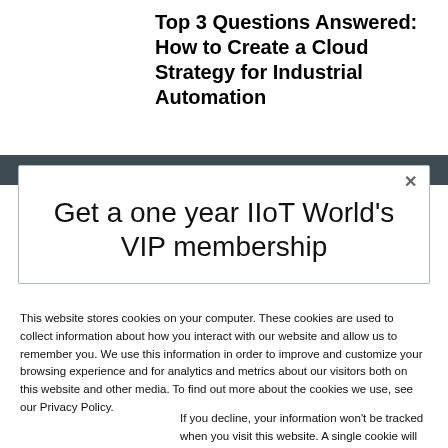Top 3 Questions Answered: How to Create a Cloud Strategy for Industrial Automation
[Figure (screenshot): A modal dialog with a close button (×) overlaying a darkened website header. The modal displays 'Get a one year IIoT World's VIP membership' as a heading.]
This website stores cookies on your computer. These cookies are used to collect information about how you interact with our website and allow us to remember you. We use this information in order to improve and customize your browsing experience and for analytics and metrics about our visitors both on this website and other media. To find out more about the cookies we use, see our Privacy Policy.
If you decline, your information won't be tracked when you visit this website. A single cookie will be used in your browser to remember your preference not to be tracked.